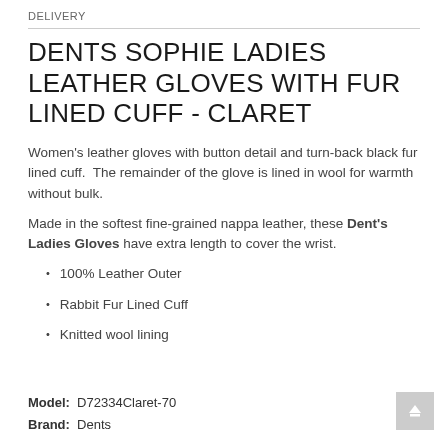DELIVERY
DENTS SOPHIE LADIES LEATHER GLOVES WITH FUR LINED CUFF - CLARET
Women's leather gloves with button detail and turn-back black fur lined cuff.  The remainder of the glove is lined in wool for warmth without bulk.
Made in the softest fine-grained nappa leather, these Dent's Ladies Gloves have extra length to cover the wrist.
100% Leather Outer
Rabbit Fur Lined Cuff
Knitted wool lining
Model: D72334Claret-70
Brand: Dents